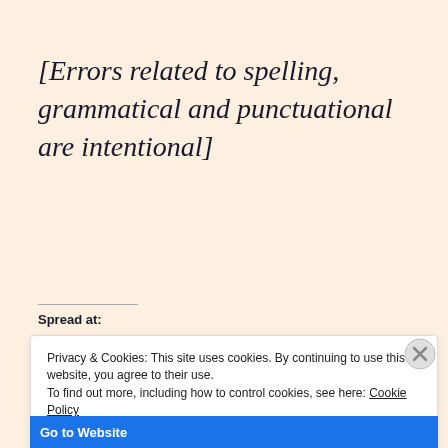[Errors related to spelling, grammatical and punctuational are intentional]
Spread at:
Privacy & Cookies: This site uses cookies. By continuing to use this website, you agree to their use.
To find out more, including how to control cookies, see here: Cookie Policy
Close and accept